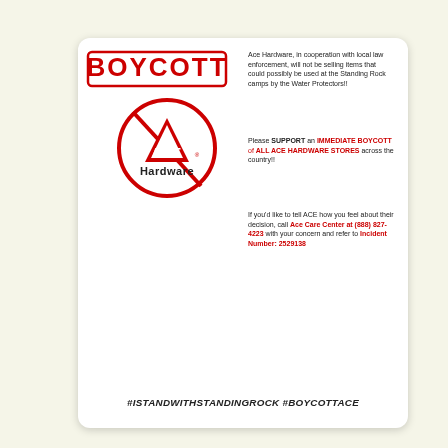[Figure (infographic): Boycott Ace Hardware flyer with red BOYCOTT stamp over Ace Hardware logo in a red circle with diagonal slash, accompanied by text calling for boycott related to Standing Rock]
Ace Hardware, in cooperation with local law enforcement, will not be selling items that could possibly be used at the Standing Rock camps by the Water Protectors!!
Please SUPPORT an IMMEDIATE BOYCOTT of ALL ACE HARDWARE STORES across the country!!
If you'd like to tell ACE how you feel about their decision, call Ace Care Center at (888) 827-4223 with your concern and refer to Incident Number: 2529138
#ISTANDWITHSTANDINGROCK #BOYCOTTACE